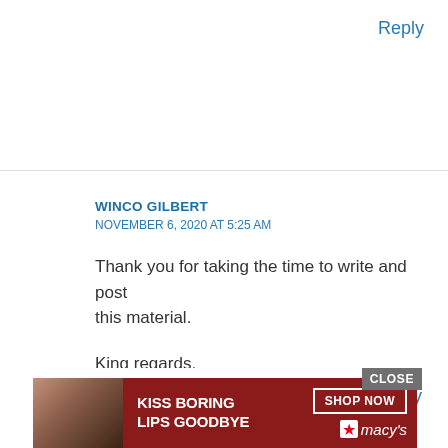Reply
WINCO GILBERT
NOVEMBER 6, 2020 AT 5:25 AM
Thank you for taking the time to write and post this material.

King regards,
Thompson Henneberg
CLOSE
[Figure (screenshot): Macy's advertisement banner: 'KISS BORING LIPS GOODBYE' with 'SHOP NOW' button and Macy's star logo, red background with woman's face]